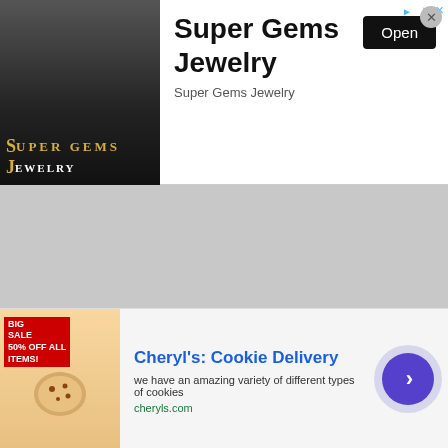[Figure (screenshot): Super Gems Jewelry advertisement banner with jewelry photo on the left, title and Open button on the right]
[Figure (screenshot): Green rounded menu buttons listing: Deals On Bulk Gift Cards, Get P[...], Bes[...], Mason[...], Christmas Crafts For Gifts — with gift box icons on each]
[Figure (screenshot): Dark video overlay panel showing a play button logo and TANNER BELL - ALITTLECRAFTINYOURDAY.COM watermark with mute icon]
[Figure (screenshot): Cheryl's Cookie Delivery bottom advertisement banner with cookie image, blue title, description text, cheryls.com URL, and purple arrow button]